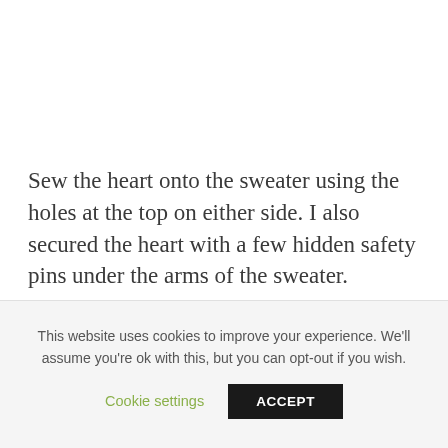Sew the heart onto the sweater using the holes at the top on either side. I also secured the heart with a few hidden safety pins under the arms of the sweater.
This website uses cookies to improve your experience. We'll assume you're ok with this, but you can opt-out if you wish.
Cookie settings
ACCEPT